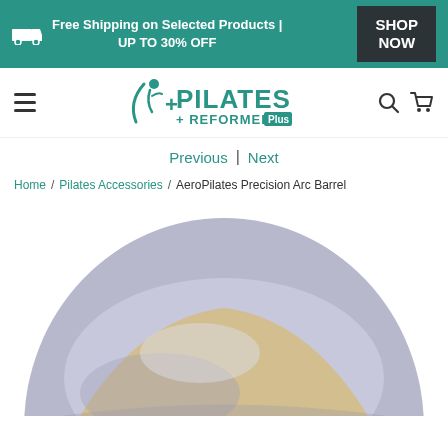Free Shipping on Selected Products | UP TO 30% OFF  SHOP NOW
[Figure (logo): Pilates + Reformers Plus logo with stylized person figure]
Previous | Next
Home / Pilates Accessories / AeroPilates Precision Arc Barrel
[Figure (photo): AeroPilates Precision Arc Barrel product photo — light grey/lavender curved foam arc barrel viewed from above at an angle, showing the cream-colored interior curve]